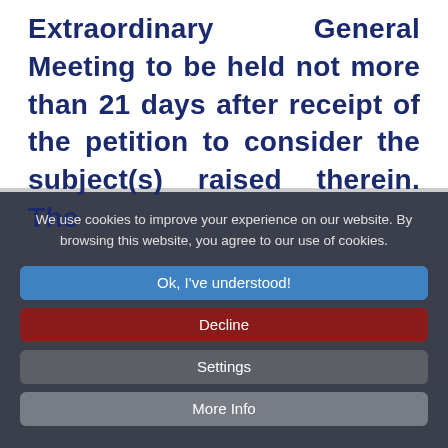Extraordinary General Meeting to be held not more than 21 days after receipt of the petition to consider the subject(s) raised therein. The
We use cookies to improve your experience on our website. By browsing this website, you agree to our use of cookies.
Ok, I've understood!
Decline
Settings
More Info